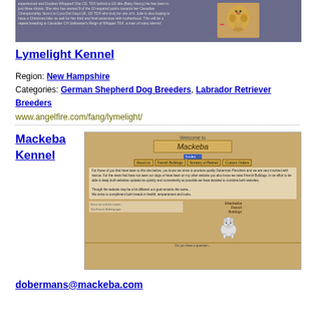[Figure (screenshot): Screenshot of a website featuring a Labrador Retriever dog on a purple/blue-gray background with text]
Lymelight Kennel
Region: New Hampshire
Categories: German Shepherd Dog Breeders, Labrador Retriever Breeders
www.angelfire.com/fang/lymelight/
Mackeba Kennel
[Figure (screenshot): Screenshot of Mackeba Kennel website with golden/tan background, welcome banner, navigation buttons, and French Bulldog imagery]
dobermans@mackeba.com